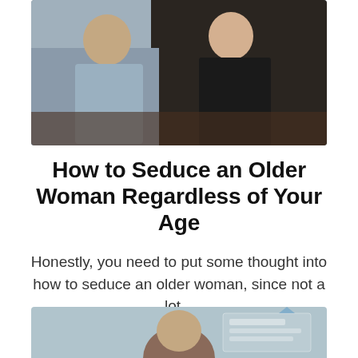[Figure (photo): Two people sitting together at a table, one in a light blue top and one in a dark top, appearing to be on a date or in conversation.]
How to Seduce an Older Woman Regardless of Your Age
Honestly, you need to put some thought into how to seduce an older woman, since not a lot...
BY AVERY HAYDEN
[Figure (photo): A woman with brown hair shown from shoulders up against a light blue background, with digital interface graphics visible on the right side.]